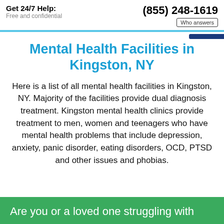Get 24/7 Help: Free and confidential | (855) 248-1619 | Who answers
Mental Health Facilities in Kingston, NY
Here is a list of all mental health facilities in Kingston, NY. Majority of the facilities provide dual diagnosis treatment. Kingston mental health clinics provide treatment to men, women and teenagers who have mental health problems that include depression, anxiety, panic disorder, eating disorders, OCD, PTSD and other issues and phobias.
Are you or a loved one struggling with